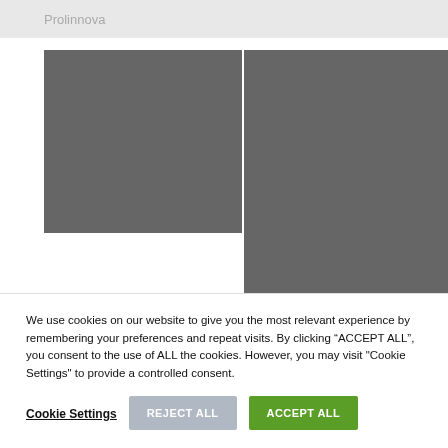Prolinnova
[Figure (photo): Two gray placeholder photo blocks side by side]
We use cookies on our website to give you the most relevant experience by remembering your preferences and repeat visits. By clicking “ACCEPT ALL”, you consent to the use of ALL the cookies. However, you may visit "Cookie Settings" to provide a controlled consent.
Cookie Settings
REJECT ALL
ACCEPT ALL